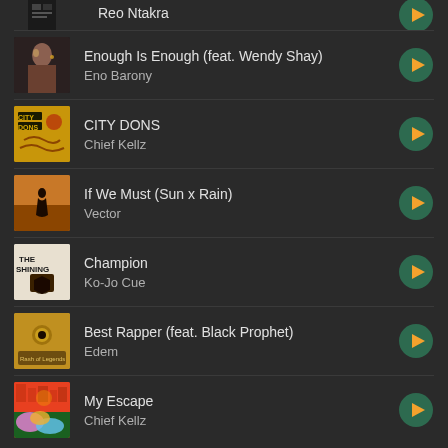Reo Ntakra (partial, top cropped)
Enough Is Enough (feat. Wendy Shay) — Eno Barony
CITY DONS — Chief Kellz
If We Must (Sun x Rain) — Vector
Champion — Ko-Jo Cue
Best Rapper (feat. Black Prophet) — Edem
My Escape — Chief Kellz